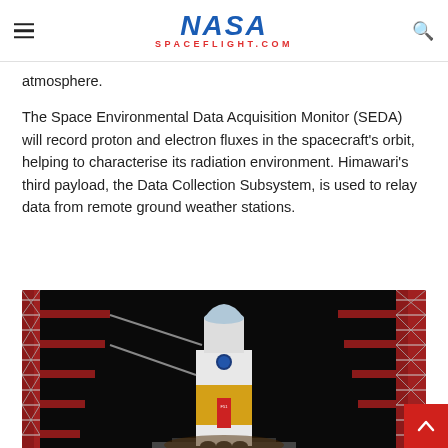NASA SPACEFLIGHT.COM
atmosphere.
The Space Environmental Data Acquisition Monitor (SEDA) will record proton and electron fluxes in the spacecraft’s orbit, helping to characterise its radiation environment. Himawari’s third payload, the Data Collection Subsystem, is used to relay data from remote ground weather stations.
[Figure (photo): Rocket on launch pad at night with two red launch towers flanking it, illuminated against a black sky. The rocket has a white upper stage and yellow/white lower section with Japanese text markings.]